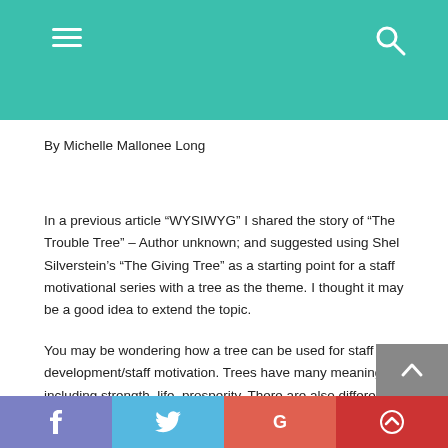By Michelle Mallonee Long
In a previous article “WYSIWYG” I shared the story of “The Trouble Tree” – Author unknown; and suggested using Shel Silverstein’s “The Giving Tree” as a starting point for a staff motivational series with a tree as the theme. I thought it may be a good idea to extend the topic.
You may be wondering how a tree can be used for staff development/staff motivation. Trees have many meanings including strength, life, prosperity. There are also different meanings for different trees. For example, a birch tree stands for new beginnings; the willow tree stands for imagination, intuition and vision; the oak stands for strength, power,